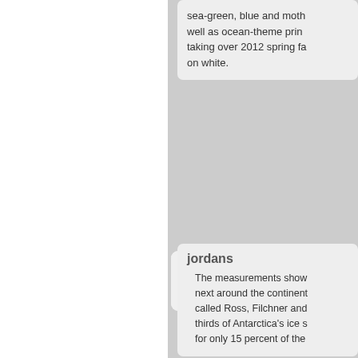sea-green, blue and moth... well as ocean-theme prin... taking over 2012 spring fa... on white.
[Figure (illustration): Green circular computer/laptop icon in a rounded square button with arrow]
jordans
The measurements show... next around the continent... called Ross, Filchner and... thirds of Antarctica's ice s... for only 15 percent of the
[Figure (illustration): Green circular computer/laptop icon in a rounded square button with arrow]
air jordan 11
This year, "American Mos... listeners in twenty-four co... heard from people in Burm... Argentina, Hungary, Iran,... Japan and others.